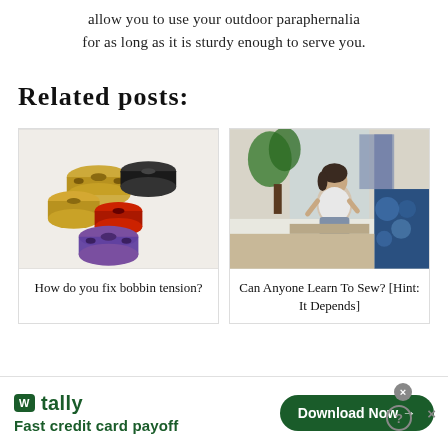allow you to use your outdoor paraphernalia for as long as it is sturdy enough to serve you.
Related posts:
[Figure (photo): Photo of various sewing bobbins in gold, black, red, and purple colors scattered together]
How do you fix bobbin tension?
[Figure (photo): Photo of a woman sitting on a windowsill, sewing, with blue tie-dye fabric visible on the right]
Can Anyone Learn To Sew? [Hint: It Depends]
[Figure (other): Tally ad banner: Fast credit card payoff with Download Now button]